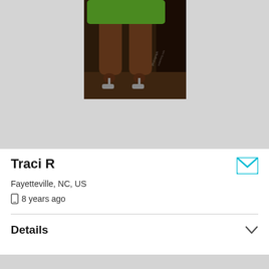[Figure (photo): Partial photo of a person's legs wearing a green outfit and high-heeled sandals, standing in a dark background setting.]
Traci R
Fayetteville, NC, US
8 years ago
Details